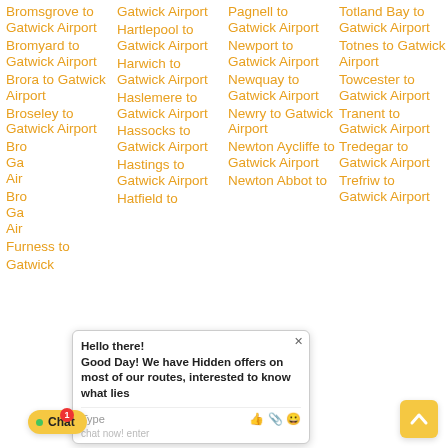Bromsgrove to Gatwick Airport
Bromyard to Gatwick Airport
Brora to Gatwick Airport
Broseley to Gatwick Airport
Gatwick Airport
Gatwick Airport
Furness to
Gatwick
Hartlepool to Gatwick Airport
Harwich to Gatwick Airport
Haslemere to Gatwick Airport
Hassocks to Gatwick Airport
Hastings to Gatwick Airport
Hatfield to
Pagnell to Gatwick Airport
Newport to Gatwick Airport
Newquay to Gatwick Airport
Newry to Gatwick Airport
Newton Aycliffe to Gatwick Airport
Newton Abbot to
Totland Bay to Gatwick Airport
Totnes to Gatwick Airport
Towcester to Gatwick Airport
Tranent to Gatwick Airport
Tredegar to Gatwick Airport
Trefriw to Gatwick Airport